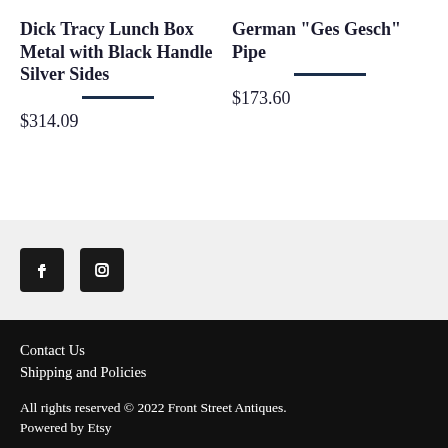Dick Tracy Lunch Box Metal with Black Handle Silver Sides
$314.09
German "Ges Gesch" Pipe
$173.60
[Figure (other): Social media icons: Facebook and Instagram, black square buttons]
Contact Us
Shipping and Policies

All rights reserved © 2022 Front Street Antiques.
Powered by Etsy